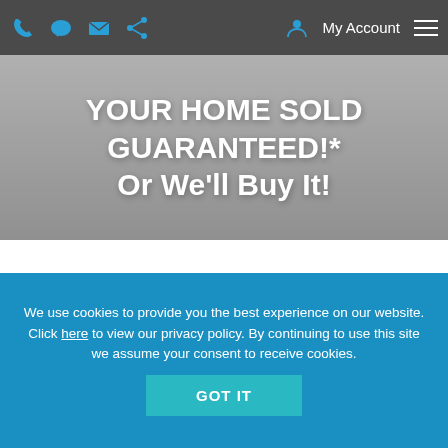My Account [navigation bar with icons]
YOUR HOME SOLD GUARANTEED!* Or We'll Buy It!
We use cookies to provide you the best experience on our website. Click here to view our privacy policy. By continuing to use this site we assume your consent to receive cookies. GOT IT